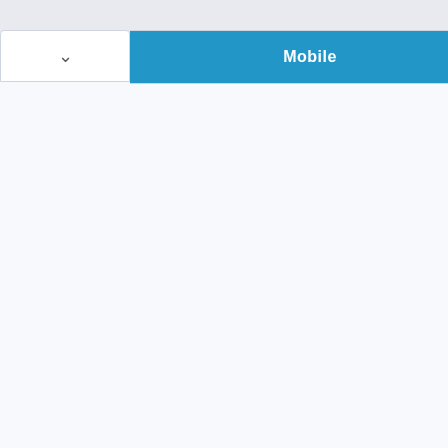[Figure (screenshot): A UI screenshot showing a dropdown button with a chevron/arrow icon on the left, and a tab bar with two tabs: 'Mobile' (active, blue background, white text) and 'Desktop' (inactive, light background, blue text). The rest of the page below is a light gray/white content area.]